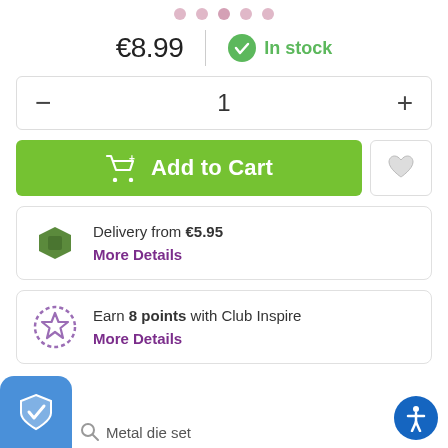[Figure (infographic): Row of five pink dots at top of page, carousel indicators]
€8.99   |   In stock
- 1 +
Add to Cart
Delivery from €5.95
More Details
Earn 8 points with Club Inspire
More Details
Metal die set